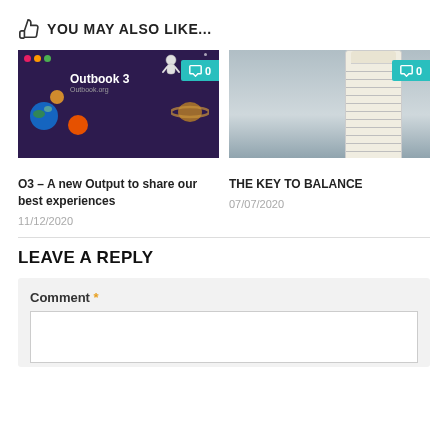YOU MAY ALSO LIKE...
[Figure (photo): Thumbnail of Outbook 3 article showing a space-themed illustration with planets, astronaut, and text 'Outbook 3'. Comment count badge showing 0.]
[Figure (photo): Thumbnail photo of Leaning Tower of Pisa against cloudy sky. Comment count badge showing 0.]
O3 – A new Output to share our best experiences
11/12/2020
THE KEY TO BALANCE
07/07/2020
LEAVE A REPLY
Comment *